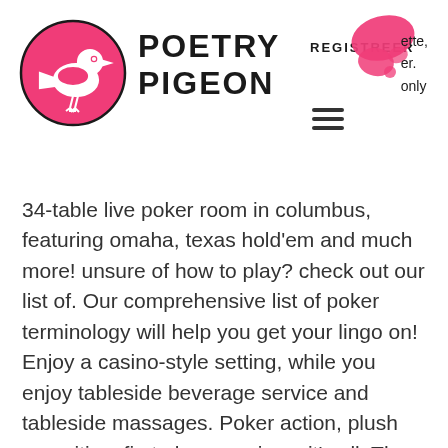[Figure (logo): Poetry Pigeon logo: pink circle with white pigeon silhouette and text POETRY PIGEON in bold black]
REGISTREER
ette, er. only
34-table live poker room in columbus, featuring omaha, texas hold'em and much more! unsure of how to play? check out our list of. Our comprehensive list of poker terminology will help you get your lingo on! Enjoy a casino-style setting, while you enjoy tableside beverage service and tableside massages. Poker action, plush amenities, first-class service – it's all. The river cree casino offers a wide variety of ways to play from slot machines, table games and much more. Visit today to learn more about. Pechanga poker room is home to thrilling poker tournaments and daily live play. All games with fewer than 9 players may be filled from the wait list. Play in a texas hold'em poker tournament, or enjoy some 3